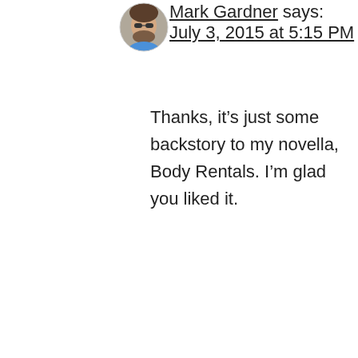[Figure (photo): Circular avatar photo of Mark Gardner, a man with sunglasses and a beard]
Mark Gardner says:
July 3, 2015 at 5:15 PM
Thanks, it’s just some backstory to my novella, Body Rentals. I’m glad you liked it.
Reply
[Figure (photo): Circular avatar photo of M.A. Kropp, a woman with reddish hair]
M.A. Kropp says:
July 6, 2015 at 12:57 PM
That was pretty good. Fascinating idea (I read one other piece). I’m certainly intrigued.
Reply